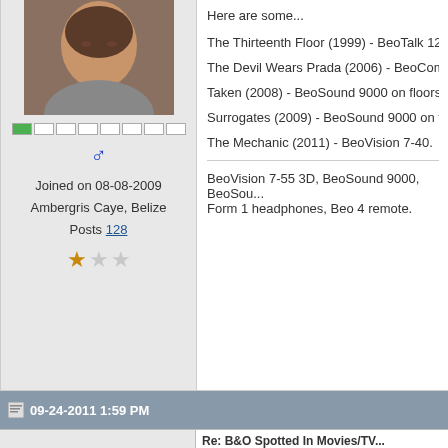[Figure (photo): User avatar photo showing a man's face]
Joined on 08-08-2009
Ambergris Caye, Belize
Posts 128
Here are some...
The Thirteenth Floor (1999) - BeoTalk 120...
The Devil Wears Prada (2006) - BeoCom 2...
Taken (2008) - BeoSound 9000 on floorsta...
Surrogates (2009) - BeoSound 9000 on flo...
The Mechanic (2011) - BeoVision 7-40.
BeoVision 7-55 3D, BeoSound 9000, BeoSou... Form 1 headphones, Beo 4 remote.
09-24-2011 1:59 PM
Re: B&O Spotted In Movies/TV...